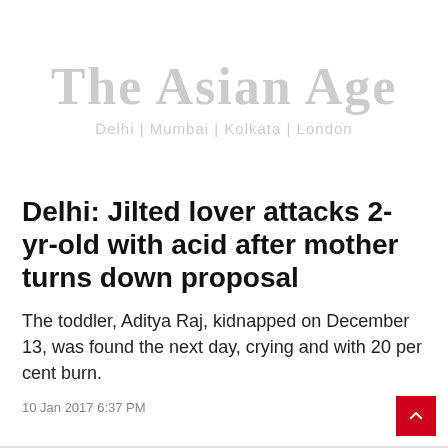The Asian Age
Delhi | Mumbai | Kolkata | London
Delhi: Jilted lover attacks 2-yr-old with acid after mother turns down proposal
The toddler, Aditya Raj, kidnapped on December 13, was found the next day, crying and with 20 per cent burn.
10 Jan 2017 6:37 PM